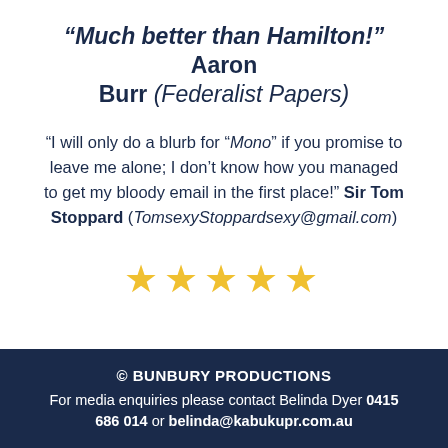“Much better than Hamilton!” Aaron Burr (Federalist Papers)
“I will only do a blurb for “Mono” if you promise to leave me alone; I don’t know how you managed to get my bloody email in the first place!” Sir Tom Stoppard (TomsexyStoppardsexy@gmail.com)
[Figure (other): Five gold stars rating]
© BUNBURY PRODUCTIONS
For media enquiries please contact Belinda Dyer 0415 686 014 or belinda@kabukupr.com.au